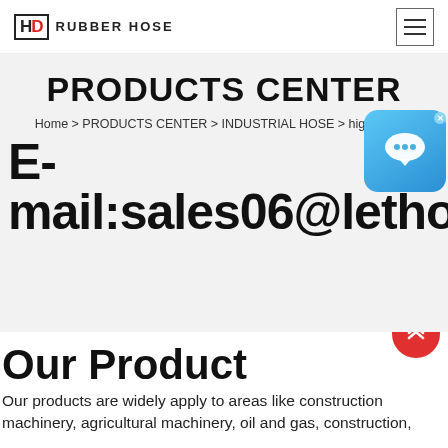HD RUBBER HOSE
PRODUCTS CENTER
Home > PRODUCTS CENTER > INDUSTRIAL HOSE > hig an hose
E-mail:sales06@lethose.co
[Figure (screenshot): Chat support bubble icon overlay with close button]
[Figure (other): Red scroll-to-top button with double chevron up icon]
Our Product
Our products are widely apply to areas like construction machinery, agricultural machinery, oil and gas, construction,